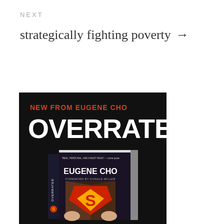NEXT
strategically fighting poverty →
[Figure (photo): Book advertisement image on black background. Text reads 'NEW FROM EUGENE CHO' in red/orange uppercase letters, 'OVERRATED' in large white bold uppercase letters, and a 3D book cover showing 'EUGENE CHO' and 'FOREWORD BY DONALD MILLER' with a Superman logo image.]